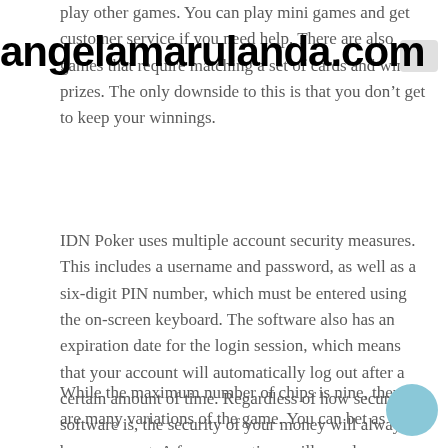angelamarulanda.com
play other games. You can play mini games and get customer service if you need help. There are also games that require matching a set of cards and win prizes. The only downside to this is that you don't get to keep your winnings.
IDN Poker uses multiple account security measures. This includes a username and password, as well as a six-digit PIN number, which must be entered using the on-screen keyboard. The software also has an expiration date for the login session, which means that your account will automatically log out after a certain amount of time. Regardless of how secure the software is, the security of your money will always be paramount. A few precautions will go a long way in preventing identity theft.
While the maximum number of chips is nine, there are many variations of the game. You can bet as